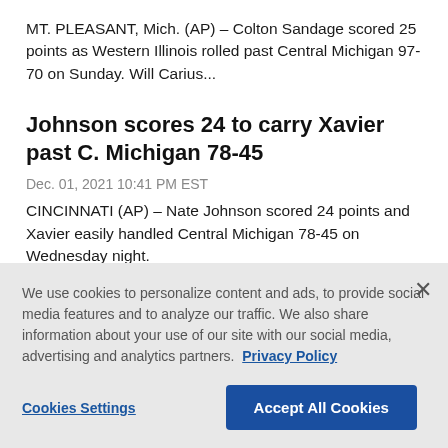MT. PLEASANT, Mich. (AP) – Colton Sandage scored 25 points as Western Illinois rolled past Central Michigan 97-70 on Sunday. Will Carius...
Johnson scores 24 to carry Xavier past C. Michigan 78-45
Dec. 01, 2021 10:41 PM EST
CINCINNATI (AP) – Nate Johnson scored 24 points and Xavier easily handled Central Michigan 78-45 on Wednesday night.
We use cookies to personalize content and ads, to provide social media features and to analyze our traffic. We also share information about your use of our site with our social media, advertising and analytics partners. Privacy Policy
Cookies Settings
Accept All Cookies